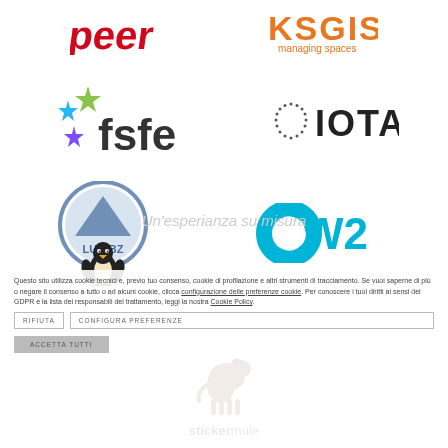[Figure (logo): Peer logo (red stylized text) and KSGIS managing spaces logo (orange text)]
[Figure (logo): FSFE logo (colorful stars with fsfe text) and IOTA logo (dotted circle with IOTA text)]
[Figure (logo): LUG BZ logo (circular badge with Linux penguin) and OW2 logo (cyan stylized text)]
Un'esperianza su misura
Cookie policy notice text with link to configurazione delle preferenze cookie and Cookie Policy
[Figure (logo): Stickermule logo — brown horse silhouette with stickermule text]
RIFIUTA | CONFIGURA PREFERENZE | ACCETTA TUTTI